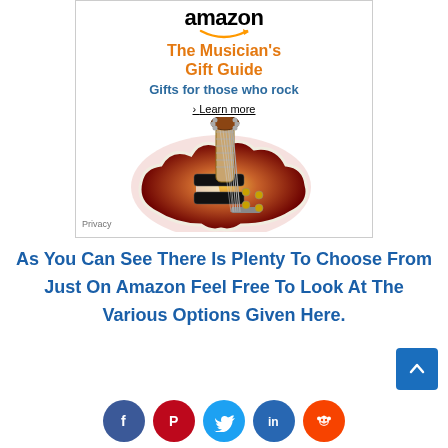[Figure (illustration): Amazon advertisement banner showing the Amazon logo with orange arrow, text 'The Musician's Gift Guide', 'Gifts for those who rock', a 'Learn more' link, and a Les Paul style electric guitar image. Privacy text in bottom-left corner.]
As You Can See There Is Plenty To Choose From Just On Amazon Feel Free To Look At The Various Options Given Here.
[Figure (other): Social media sharing buttons row: Facebook (blue), Pinterest (red), Twitter (light blue), LinkedIn (blue), Reddit (orange). Also a scroll-to-top button (blue square with up chevron) in the bottom right.]